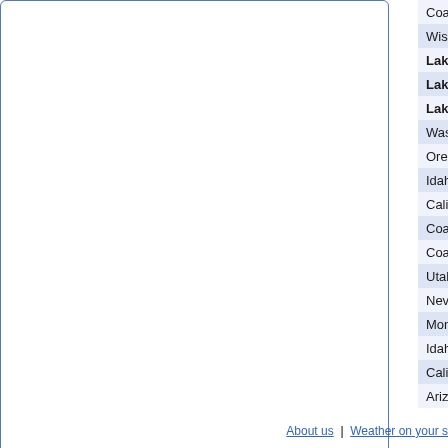| Location | Link |
| --- | --- |
| Coastal Alaska | Mari... |
| Wisconsin | Mari... |
| Lake Huron,Lake Superior,St. Marys River | Mari... |
| Lake Huron,Lake Superior,St. Marys River | Mari... |
| Lake Huron,Lake Superior,St. Marys River | Mari... |
| Washington | Red... |
| Oregon | Red... |
| Idaho | Red... |
| California | Red... |
| Coastal Oregon-Washington | Non... |
| Coastal Alaska | Non... |
| Utah | Non... |
| Nevada | Non... |
| Montana | Non... |
| Idaho | Non... |
| California | Non... |
| Arizona | Non... |
Back to Top
About us  |  Weather on your s...